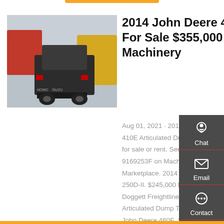[Figure (photo): Rear view of a red heavy truck/semi-truck cab in a parking lot with other construction vehicles visible in background]
2014 John Deere 410E For Sale $355,000 | Machinery
Aug 01, 2021 · 2014 John Deere 410E Articulated Dump Trucks for sale or rent. See more 410E 9169253F on Machinery Marketplace. 2014 John Deere 250D-II. $245,000 Listed by Doggett Freightliner Used | Articulated Dump Trucks; 20 John Deere 460E. $275,000